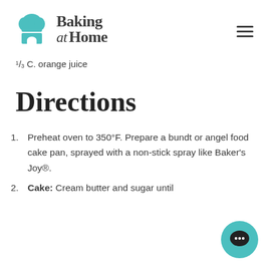Baking at Home
1/3 C. orange juice
Directions
1. Preheat oven to 350°F. Prepare a bundt or angel food cake pan, sprayed with a non-stick spray like Baker's Joy®.
2. Cake: Cream butter and sugar until